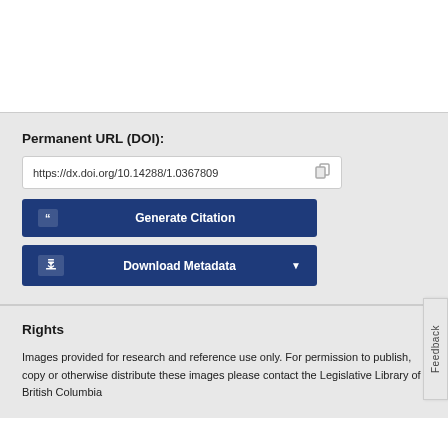Permanent URL (DOI):
https://dx.doi.org/10.14288/1.0367809
Generate Citation
Download Metadata
Rights
Images provided for research and reference use only. For permission to publish, copy or otherwise distribute these images please contact the Legislative Library of British Columbia
Feedback